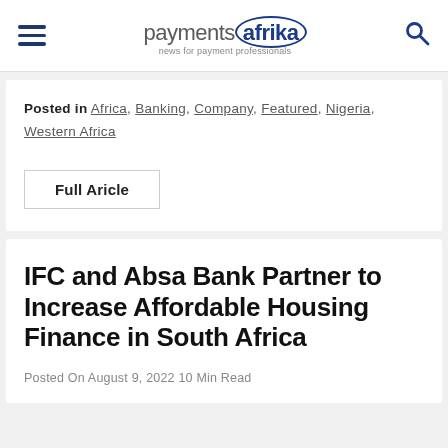paymentsafrika — news for payment professionals
Posted in Africa, Banking, Company, Featured, Nigeria, Western Africa
Full Aricle
IFC and Absa Bank Partner to Increase Affordable Housing Finance in South Africa
Posted On August 9, 2022 10 Min Read